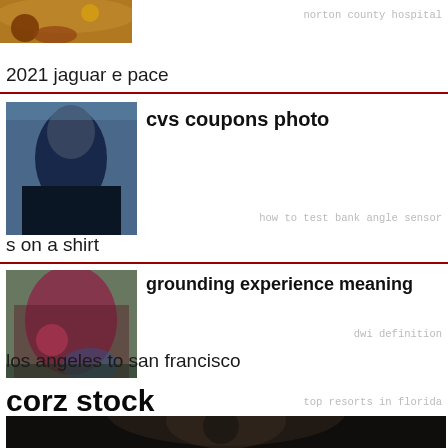[Figure (photo): Partial photo at top, appears to show an animal or close-up, warm orange/brown tones]
norton county hospital
2021 jaguar e pace
[Figure (photo): Photo of a man in a suit with sunglasses, appears to be Joe Biden, blue and grey tones]
cvs coupons photo
how to test bank angle sensor
s on a shirt
[Figure (photo): Photo of a woman in a purple jacket speaking at a podium with official seal, crowd behind her]
grounding experience meaning
dwi definition
los angeles to san francisco
corz stock
top resorts in florida
[Figure (photo): Dark portrait photo of a man with glasses, dark background]